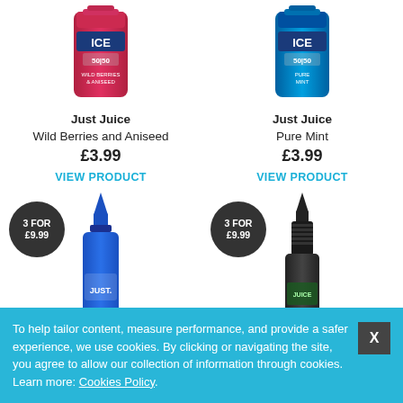[Figure (photo): Just Juice Ice Wild Berries and Aniseed e-liquid bottle (red/pink)]
[Figure (photo): Just Juice Ice Pure Mint e-liquid bottle (blue)]
Just Juice
Wild Berries and Aniseed
£3.99
VIEW PRODUCT
Just Juice
Pure Mint
£3.99
VIEW PRODUCT
[Figure (photo): 3 FOR £9.99 badge and Just Juice blue bottle]
[Figure (photo): 3 FOR £9.99 badge and dark/black bottle]
To help tailor content, measure performance, and provide a safer experience, we use cookies. By clicking or navigating the site, you agree to allow our collection of information through cookies. Learn more: Cookies Policy.